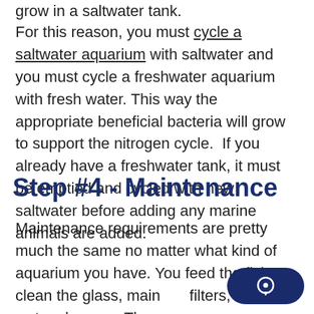grow in a saltwater tank.
For this reason, you must cycle a saltwater aquarium with saltwater and you must cycle a freshwater aquarium with fresh water. This way the appropriate beneficial bacteria will grow to support the nitrogen cycle. If you already have a freshwater tank, it must be emptied and cycled with new saltwater before adding any marine animals are added.
Step #4 - Maintenance
Maintenance requirements are pretty much the same no matter what kind of aquarium you have. You feed the fish, clean the glass, maintain filters, and do water changes. These